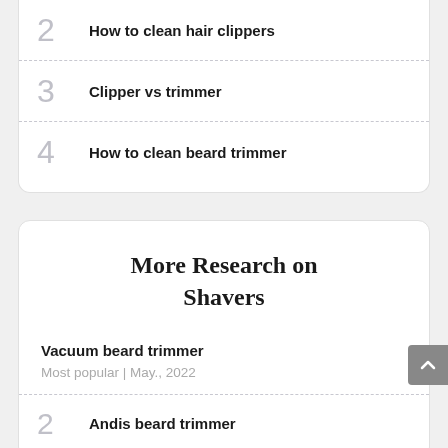2  How to clean hair clippers
3  Clipper vs trimmer
4  How to clean beard trimmer
More Research on Shavers
Vacuum beard trimmer
Most popular | May., 2022
2  Andis beard trimmer